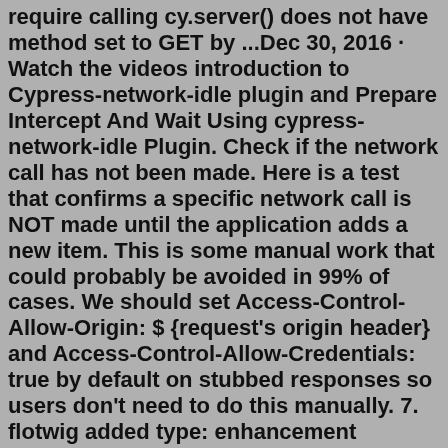require calling cy.server() does not have method set to GET by ...Dec 30, 2016 · Watch the videos introduction to Cypress-network-idle plugin and Prepare Intercept And Wait Using cypress-network-idle Plugin. Check if the network call has not been made. Here is a test that confirms a specific network call is NOT made until the application adds a new item. This is some manual work that could probably be avoided in 99% of cases. We should set Access-Control-Allow-Origin: $ {request's origin header} and Access-Control-Allow-Credentials: true by default on stubbed responses so users don't need to do this manually. 7. flotwig added type: enhancement cy.intercept () labels on Nov 20, 2020.How to Intercept Network Requests in Cypress Ferenc Almasi • 🗓 2021 October 25 • 🕐 1 min read To intercept network requests in Cypress we can use the cy.intercept command, passing the URL we want to intercept, and a mock JSON file that we want to return as a response:cy.intercept () is the successor to cy.route () as of Cypress 6.0.0. See Comparison to